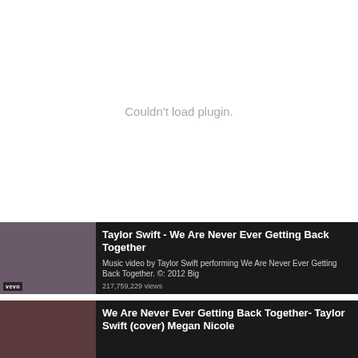Couldn't load plugin.
[Figure (screenshot): YouTube video thumbnail for Taylor Swift - We Are Never Ever Getting Back Together with vevo logo]
Taylor Swift - We Are Never Ever Getting Back Together
Music video by Taylor Swift performing We Are Never Ever Getting Back Together. © 2012 Big
217,759,229 views
[Figure (screenshot): YouTube video thumbnail for We Are Never Ever Getting Back Together- Taylor Swift (cover) Megan Nicole]
We Are Never Ever Getting Back Together- Taylor Swift (cover) Megan Nicole